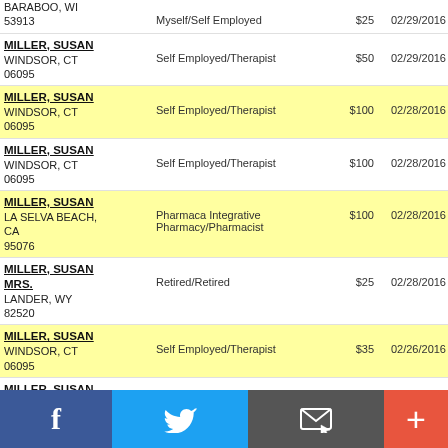| Name/Address | Employer/Occupation | Amount | Date | Flag | Code |
| --- | --- | --- | --- | --- | --- |
| BARABOO, WI 53913 | Myself/Self Employed | $25 | 02/29/2016 |  | A |
| MILLER, SUSAN
WINDSOR, CT 06095 | Self Employed/Therapist | $50 | 02/29/2016 |  | A |
| MILLER, SUSAN
WINDSOR, CT 06095 | Self Employed/Therapist | $100 | 02/28/2016 |  | A |
| MILLER, SUSAN
WINDSOR, CT 06095 | Self Employed/Therapist | $100 | 02/28/2016 | P | B |
| MILLER, SUSAN
LA SELVA BEACH, CA 95076 | Pharmaca Integrative Pharmacy/Pharmacist | $100 | 02/28/2016 | P | B |
| MILLER, SUSAN MRS.
LANDER, WY 82520 | Retired/Retired | $25 | 02/28/2016 | P | C |
| MILLER, SUSAN
WINDSOR, CT 06095 | Self Employed/Therapist | $35 | 02/26/2016 | P | B |
| MILLER, SUSAN
WINDSOR, CT 06095 | Self Employed/Therapist | $35 | 02/26/2016 |  | A |
[Figure (infographic): Social media sharing footer bar with Facebook (blue), Twitter (light blue), Email (gray), and Add/Plus (red-orange) buttons]